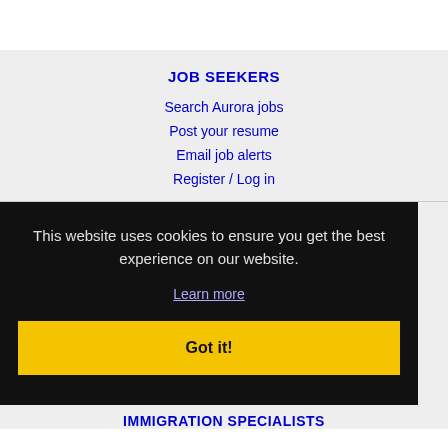JOB SEEKERS
Search Aurora jobs
Post your resume
Email job alerts
Register / Log in
This website uses cookies to ensure you get the best experience on our website.
Learn more
Got it!
IMMIGRATION SPECIALISTS